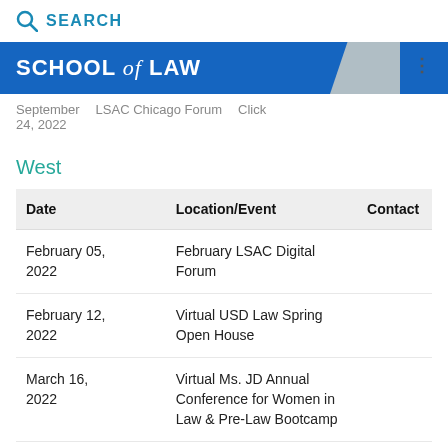SEARCH
SCHOOL of LAW
September 24, 2022 — LSAC Chicago Forum — Click
West
| Date | Location/Event | Contact |
| --- | --- | --- |
| February 05, 2022 | February LSAC Digital Forum |  |
| February 12, 2022 | Virtual USD Law Spring Open House |  |
| March 16, 2022 | Virtual Ms. JD Annual Conference for Women in Law & Pre-Law Bootcamp |  |